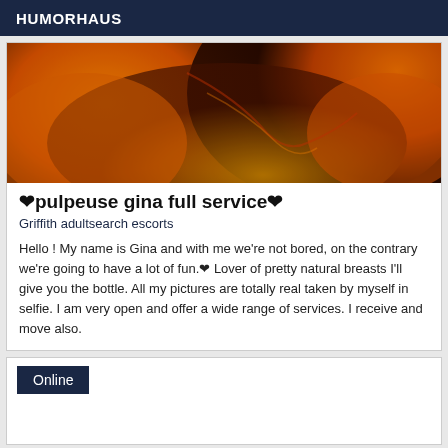HUMORHAUS
[Figure (photo): Close-up orange-toned photo, abstract curves]
❤pulpeuse gina full service❤
Griffith adultsearch escorts
Hello ! My name is Gina and with me we're not bored, on the contrary we're going to have a lot of fun.❤ Lover of pretty natural breasts I'll give you the bottle. All my pictures are totally real taken by myself in selfie. I am very open and offer a wide range of services. I receive and move also.
Online